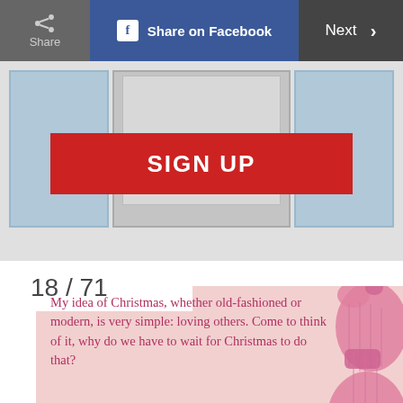Share | Share on Facebook | Next >
[Figure (screenshot): Sign Up banner with thumbnail images in background, red SIGN UP button]
18 / 71
[Figure (illustration): Pink knitted mittens on a pink background with a Christmas quote]
My idea of Christmas, whether old-fashioned or modern, is very simple: loving others. Come to think of it, why do we have to wait for Christmas to do that?